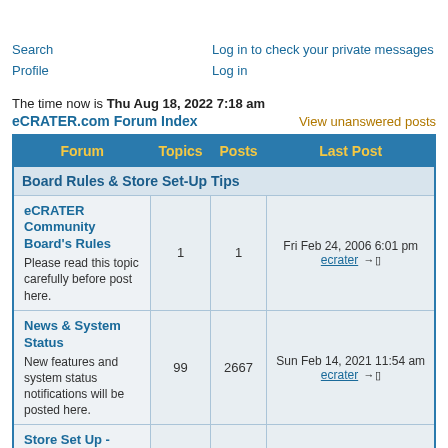Search   Log in to check your private messages
Profile   Log in
The time now is Thu Aug 18, 2022 7:18 am
eCRATER.com Forum Index    View unanswered posts
| Forum | Topics | Posts | Last Post |
| --- | --- | --- | --- |
| Board Rules & Store Set-Up Tips |  |  |  |
| eCRATER Community Board's Rules
Please read this topic carefully before post here. | 1 | 1 | Fri Feb 24, 2006 6:01 pm
ecrater → |
| News & System Status
New features and system status notifications will be posted here. | 99 | 2667 | Sun Feb 14, 2021 11:54 am
ecrater → |
| Store Set Up - please read this before you ask questions
Tips which will help you during the store | 8 | 20 | Thu Jul 21, 2022 7:45 pm
SheilaDeesPostcards → |